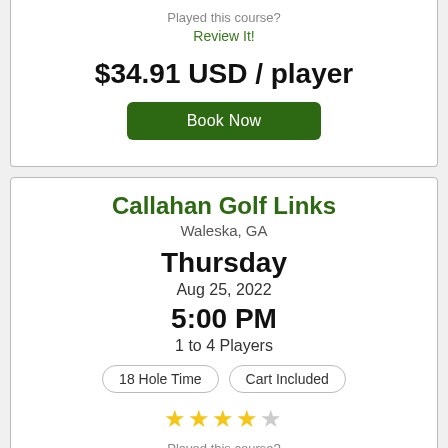Played this course?
Review It!
$34.91 USD / player
Book Now
Callahan Golf Links
Waleska, GA
Thursday
Aug 25, 2022
5:00 PM
1 to 4 Players
18 Hole Time
Cart Included
Played this course?
Review It!